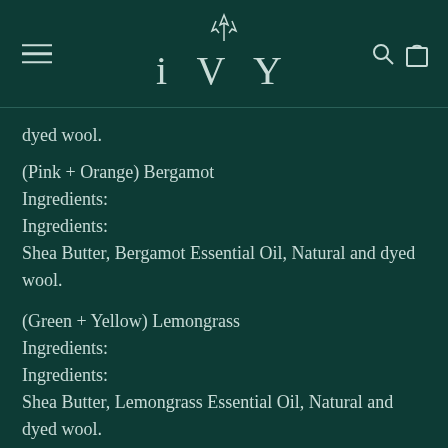IVY
dyed wool.
(Pink + Orange) Bergamot
Ingredients:
Ingredients:
Shea Butter, Bergamot Essential Oil, Natural and dyed wool.
(Green + Yellow) Lemongrass
Ingredients:
Ingredients:
Shea Butter, Lemongrass Essential Oil, Natural and dyed wool.